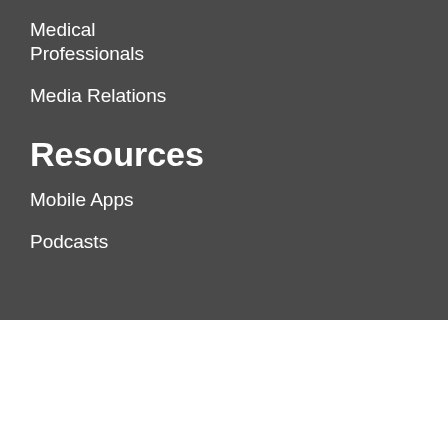Medical
Professionals
Media Relations
Resources
Mobile Apps
Podcasts
Cleveland Clinic © 1995-2022. All Rights Reserved.
Ad
[Figure (screenshot): GoodRx advertisement banner: GoodRx logo with yellow plus sign and teal Rx, text 'Compare prices on all your prescriptions', yellow gradient design on right side, close button X top right.]